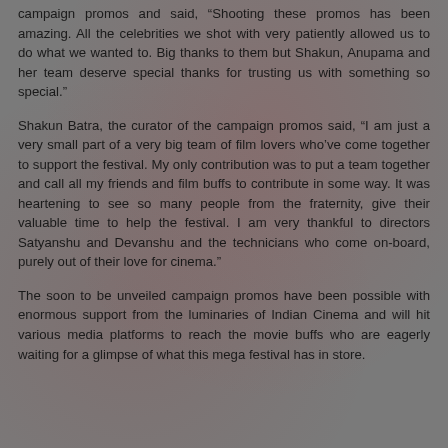campaign promos and said, “Shooting these promos has been amazing. All the celebrities we shot with very patiently allowed us to do what we wanted to. Big thanks to them but Shakun, Anupama and her team deserve special thanks for trusting us with something so special.”
Shakun Batra, the curator of the campaign promos said, “I am just a very small part of a very big team of film lovers who’ve come together to support the festival. My only contribution was to put a team together and call all my friends and film buffs to contribute in some way. It was heartening to see so many people from the fraternity, give their valuable time to help the festival. I am very thankful to directors Satyanshu and Devanshu and the technicians who come on-board, purely out of their love for cinema.”
The soon to be unveiled campaign promos have been possible with enormous support from the luminaries of Indian Cinema and will hit various media platforms to reach the movie buffs who are eagerly waiting for a glimpse of what this mega festival has in store.